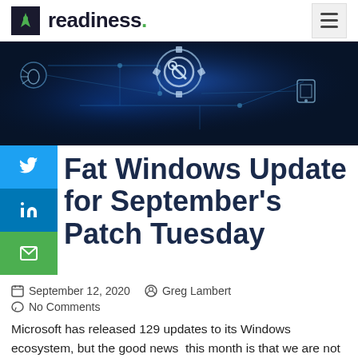readiness.
[Figure (photo): Hero banner image: blue circuit board / technology network background with gear icon, connected device icons, on dark blue glowing background]
Fat Windows Update for September's Patch Tuesday
September 12, 2020   Greg Lambert
No Comments
Microsoft has released 129 updates to its Windows ecosystem, but the good news this month is that we are not responding to any zero-days or publicly reported